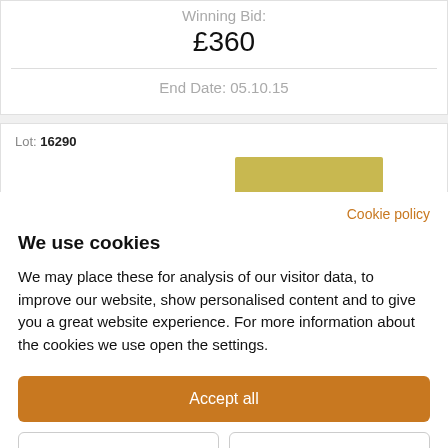Winning Bid:
£360
End Date: 05.10.15
Lot: 16290
Cookie policy
We use cookies
We may place these for analysis of our visitor data, to improve our website, show personalised content and to give you a great website experience. For more information about the cookies we use open the settings.
Accept all
Deny
No, adjust